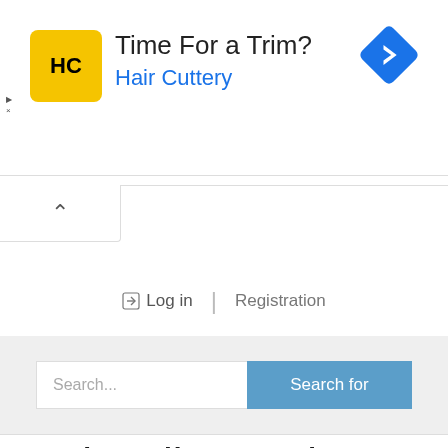[Figure (other): Hair Cuttery advertisement banner with HC logo, text 'Time For a Trim?' and 'Hair Cuttery' in blue, and a blue diamond navigation icon]
Log in  |  Registration
Search...
Hairstyling and Aesthetics Broad-based Courses